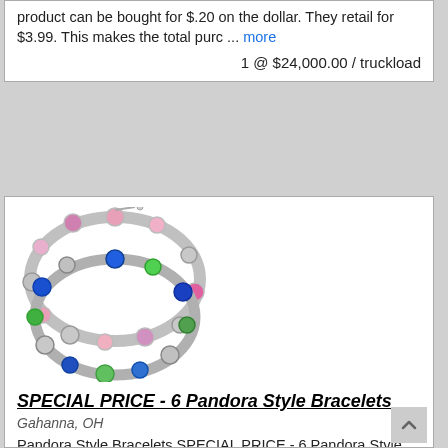product can be bought for $.20 on the dollar. They retail for $3.99. This makes the total purc ... more
1 @ $24,000.00 / truckload
[Figure (photo): Two Pandora-style bead bracelets with colorful charms including pink, blue, green, and silver beads arranged in a circle]
SPECIAL PRICE - 6 Pandora Style Bracelets
Gahanna, OH
Pandora Style Bracelets SPECIAL PRICE - 6 Pandora Style Bracelets for $399 Lowest Price ever - You choose the assortment or we can choose for you. www.StaceysUniqueBoutique.Shutterfly.com to see ... more